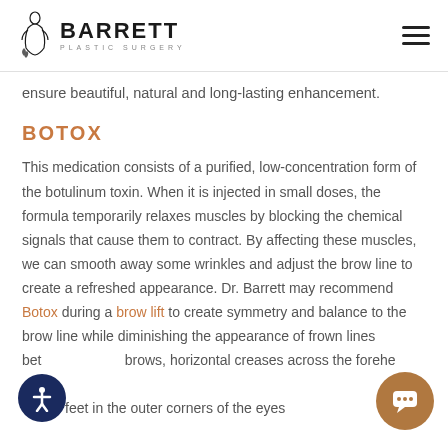Barrett Plastic Surgery
ensure beautiful, natural and long-lasting enhancement.
BOTOX
This medication consists of a purified, low-concentration form of the botulinum toxin. When it is injected in small doses, the formula temporarily relaxes muscles by blocking the chemical signals that cause them to contract. By affecting these muscles, we can smooth away some wrinkles and adjust the brow line to create a refreshed appearance. Dr. Barrett may recommend Botox during a brow lift to create symmetry and balance to the brow line while diminishing the appearance of frown lines between the eyebrows, horizontal creases across the forehead, and crow's feet in the outer corners of the eyes.